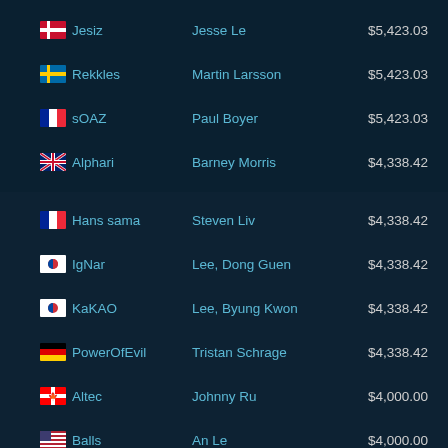| Flag | Gamertag | Real Name | Amount |
| --- | --- | --- | --- |
| DK | Jesiz | Jesse Le | $5,423.03 |
| SE | Rekkles | Martin Larsson | $5,423.03 |
| FR | sOAZ | Paul Boyer | $5,423.03 |
| GB | Alphari | Barney Morris | $4,338.42 |
| FR | Hans sama | Steven Liv | $4,338.42 |
| KR | IgNar | Lee, Dong Guen | $4,338.42 |
| KR | KaKAO | Lee, Byung Kwon | $4,338.42 |
| DE | PowerOfEvil | Tristan Schrage | $4,338.42 |
| CA | Altec | Johnny Ru | $4,000.00 |
| US | Balls | An Le | $4,000.00 |
| US | Hai | Hai Lam | $4,000.00 |
| US | LemonNation | Daerek Hart | $4,000.00 |
| US | Moon | Galen Holgate | $4,000.00 |
| US | Adrian | Adrian Ma | $3,750.00 |
| KR | Arrow | No, Dong Hyeon | $3,750.00 |
| IN | Inori | Rami Charagh | $3,750.00 |
| US | Meteos | William Hartman | $3,750.00 |
| KR | Ryu | Yoo, Sang Ook | $3,750.00 |